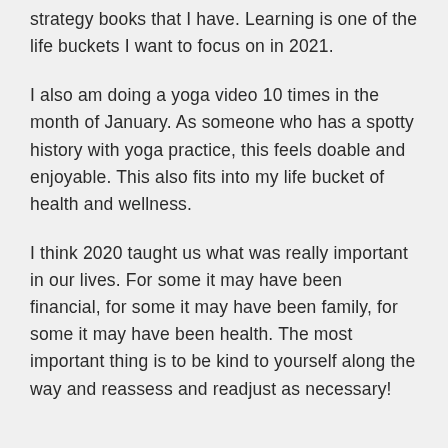strategy books that I have. Learning is one of the life buckets I want to focus on in 2021.
I also am doing a yoga video 10 times in the month of January. As someone who has a spotty history with yoga practice, this feels doable and enjoyable. This also fits into my life bucket of health and wellness.
I think 2020 taught us what was really important in our lives. For some it may have been financial, for some it may have been family, for some it may have been health. The most important thing is to be kind to yourself along the way and reassess and readjust as necessary!